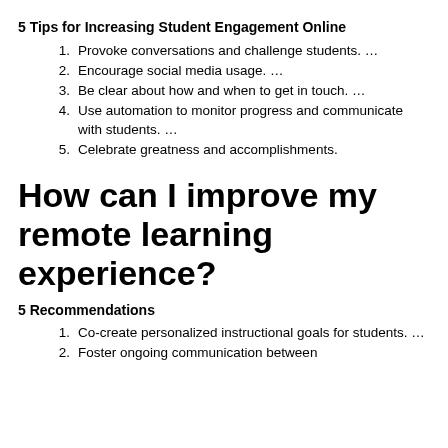5 Tips for Increasing Student Engagement Online
Provoke conversations and challenge students. …
Encourage social media usage. …
Be clear about how and when to get in touch. …
Use automation to monitor progress and communicate with students. …
Celebrate greatness and accomplishments.
How can I improve my remote learning experience?
5 Recommendations
Co-create personalized instructional goals for students. …
Foster ongoing communication between